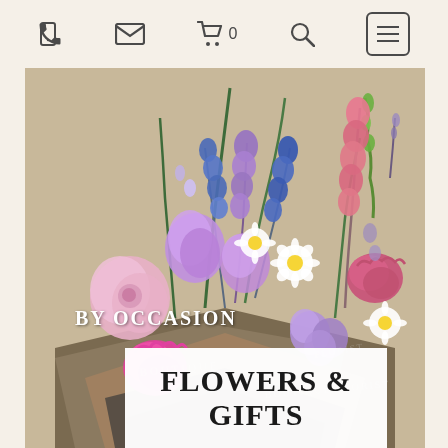Navigation bar with phone, email, cart (0), search, and menu icons
[Figure (photo): A bouquet of mixed flowers including pink chrysanthemums, purple carnations, blue delphiniums, white daisies, pink snapdragons, and lavender, wrapped in brown kraft paper with dark green/grey ribbon branding 'BOUTIQUE FLORIST'. Text overlays: 'BY OCCASION' and a white box with 'FLOWERS & GIFTS'.]
FLOWERS & GIFTS